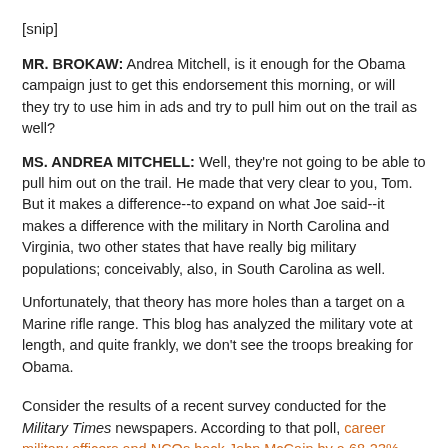[snip]
MR. BROKAW: Andrea Mitchell, is it enough for the Obama campaign just to get this endorsement this morning, or will they try to use him in ads and try to pull him out on the trail as well?
MS. ANDREA MITCHELL: Well, they're not going to be able to pull him out on the trail. He made that very clear to you, Tom. But it makes a difference--to expand on what Joe said--it makes a difference with the military in North Carolina and Virginia, two other states that have really big military populations; conceivably, also, in South Carolina as well.
Unfortunately, that theory has more holes than a target on a Marine rifle range. This blog has analyzed the military vote at length, and quite frankly, we don't see the troops breaking for Obama.
Consider the results of a recent survey conducted for the Military Times newspapers. According to that poll, career military officers and NCOs back John McCain by a 68-23%